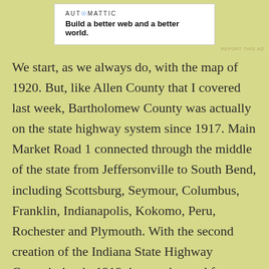[Figure (logo): Automattic logo and tagline: 'Build a better web and a better world.']
REPORT THIS AD
We start, as we always do, with the map of 1920. But, like Allen County that I covered last week, Bartholomew County was actually on the state highway system since 1917. Main Market Road 1 connected through the middle of the state from Jeffersonville to South Bend, including Scottsburg, Seymour, Columbus, Franklin, Indianapolis, Kokomo, Peru, Rochester and Plymouth. With the second creation of the Indiana State Highway Commission in 1919, it was changed from Main Market Road 1 to State Road 1.